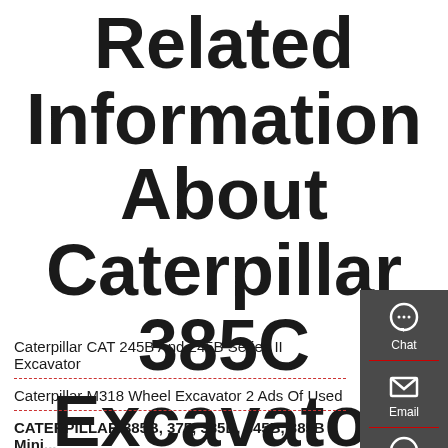Related Information About Caterpillar 385C Excavator Loading Trucks And
[Figure (infographic): Dark grey sidebar widget with Chat, Email, and Contact icons]
Caterpillar CAT 245B And 245B Series II Excavator
Caterpillar M318 Wheel Excavator 2 Ads Of Used
CATERPILLAR 385B, 375, 385B, 345B, 385B Mini...